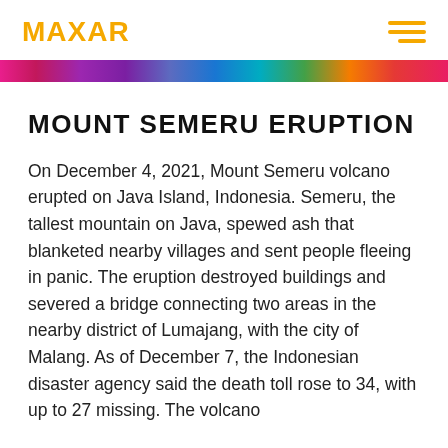MAXAR
MOUNT SEMERU ERUPTION
On December 4, 2021, Mount Semeru volcano erupted on Java Island, Indonesia. Semeru, the tallest mountain on Java, spewed ash that blanketed nearby villages and sent people fleeing in panic. The eruption destroyed buildings and severed a bridge connecting two areas in the nearby district of Lumajang, with the city of Malang. As of December 7, the Indonesian disaster agency said the death toll rose to 34, with up to 27 missing. The volcano